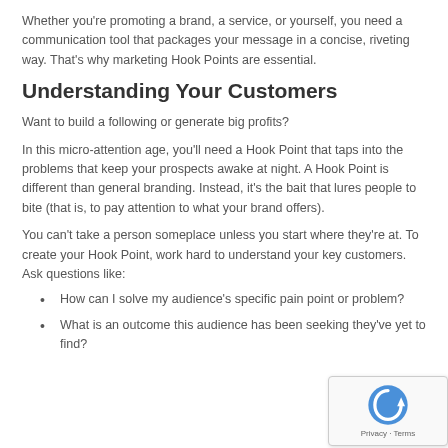Whether you're promoting a brand, a service, or yourself, you need a communication tool that packages your message in a concise, riveting way. That's why marketing Hook Points are essential.
Understanding Your Customers
Want to build a following or generate big profits?
In this micro-attention age, you'll need a Hook Point that taps into the problems that keep your prospects awake at night. A Hook Point is different than general branding. Instead, it's the bait that lures people to bite (that is, to pay attention to what your brand offers).
You can't take a person someplace unless you start where they're at. To create your Hook Point, work hard to understand your key customers. Ask questions like:
How can I solve my audience's specific pain point or problem?
What is an outcome this audience has been seeking they've yet to find?